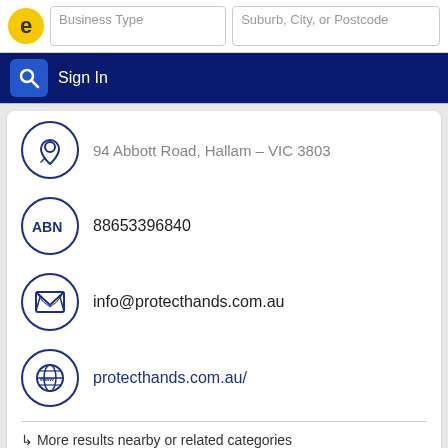Business Type | Suburb, City, or Postcode | Sign In
94 Abbott Road, Hallam – VIC 3803
ABN 88653396840
info@protecthands.com.au
protecthands.com.au/
↳ More results nearby or related categories
Safety Equipment Hallam VIC
Workplace Health and Safety Hallam VIC
Shadbolt Engineering Pty Ltd